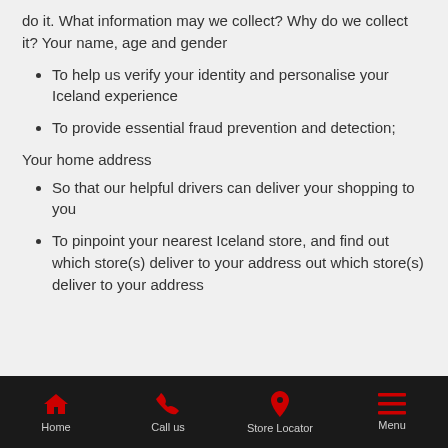do it. What information may we collect? Why do we collect it? Your name, age and gender
To help us verify your identity and personalise your Iceland experience
To provide essential fraud prevention and detection;
Your home address
So that our helpful drivers can deliver your shopping to you
To pinpoint your nearest Iceland store, and find out which store(s) deliver to your address out which store(s) deliver to your address
Home | Call us | Store Locator | Menu